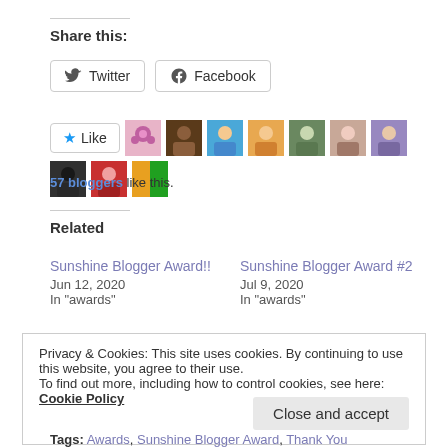Share this:
Twitter  Facebook
[Figure (other): Like button with 10 blogger avatar thumbnails]
57 bloggers like this.
Related
Sunshine Blogger Award!!
Jun 12, 2020
In "awards"
Sunshine Blogger Award #2
Jul 9, 2020
In "awards"
Privacy & Cookies: This site uses cookies. By continuing to use this website, you agree to their use.
To find out more, including how to control cookies, see here: Cookie Policy
Close and accept
Tags: Awards, Sunshine Blogger Award, Thank You